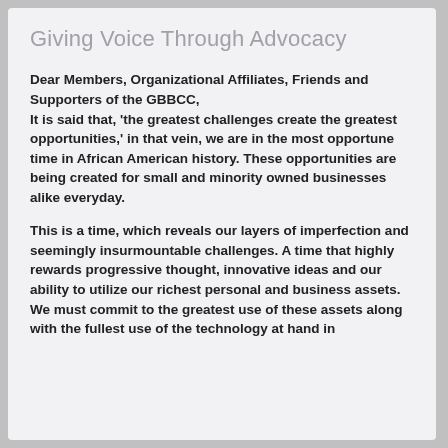Giving Voice Through Advocacy
Dear Members, Organizational Affiliates, Friends and Supporters of the GBBCC,
It is said that, 'the greatest challenges create the greatest opportunities,' in that vein, we are in the most opportune time in African American history. These opportunities are being created for small and minority owned businesses alike everyday.
This is a time, which reveals our layers of imperfection and seemingly insurmountable challenges. A time that highly rewards progressive thought, innovative ideas and our ability to utilize our richest personal and business assets. We must commit to the greatest use of these assets along with the fullest use of the technology at hand in